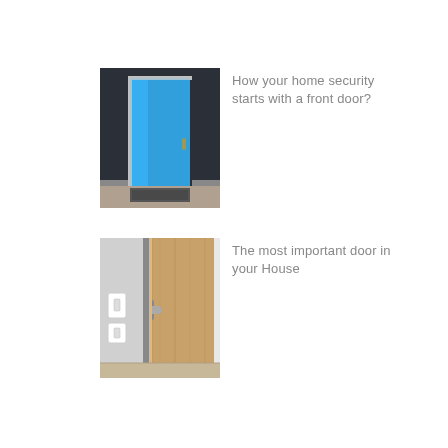[Figure (photo): Photo of a bright blue open front door viewed from inside a hallway]
How your home security starts with a front door?
[Figure (photo): Photo of a light wood interior door slightly ajar with a door handle and electrical switch visible on the wall]
The most important door in your House